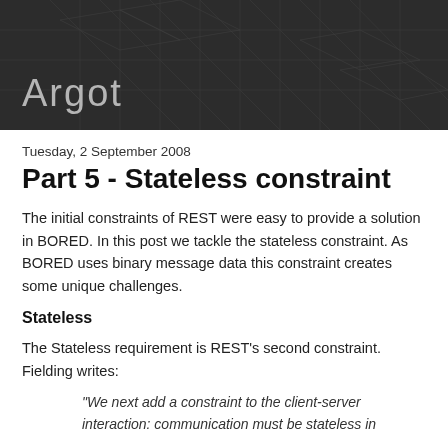Argot
Tuesday, 2 September 2008
Part 5 - Stateless constraint
The initial constraints of REST were easy to provide a solution in BORED. In this post we tackle the stateless constraint. As BORED uses binary message data this constraint creates some unique challenges.
Stateless
The Stateless requirement is REST's second constraint. Fielding writes:
"We next add a constraint to the client-server interaction: communication must be stateless in